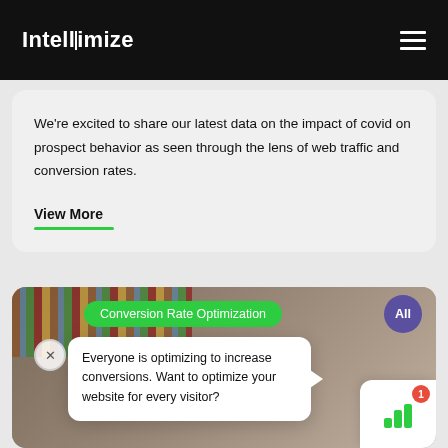Intellimize
We're excited to share our latest data on the impact of covid on prospect behavior as seen through the lens of web traffic and conversion rates.
View More
[Figure (screenshot): Website card showing Conversion Rate Optimization header with a woman in a library background, a tooltip popup reading 'Everyone is optimizing to increase conversions. Want to optimize your website for every visitor?', green pill label, All button, and notification widget]
Everyone is optimizing to increase conversions. Want to optimize your website for every visitor?